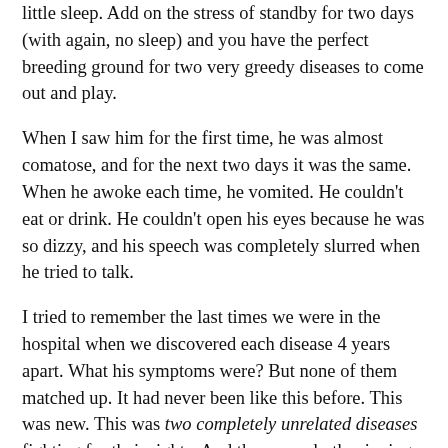little sleep. Add on the stress of standby for two days (with again, no sleep) and you have the perfect breeding ground for two very greedy diseases to come out and play.
When I saw him for the first time, he was almost comatose, and for the next two days it was the same. When he awoke each time, he vomited. He couldn't eat or drink. He couldn't open his eyes because he was so dizzy, and his speech was completely slurred when he tried to talk.
I tried to remember the last times we were in the hospital when we discovered each disease 4 years apart. What his symptoms were? But none of them matched up. It had never been like this before. This was new. This was two completely unrelated diseases fighting for their rights. And they were both winning.
We missed the wedding. I couldn't leave him. He didn't even know.
Slowly, as his potassium levels rose to an amazing 3.5, he began to recover. He was awake, he could eat again, he